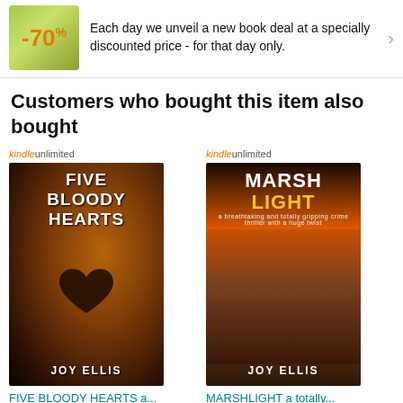-70% Each day we unveil a new book deal at a specially discounted price - for that day only.
Customers who bought this item also bought
[Figure (illustration): Book cover for FIVE BLOODY HEARTS by Joy Ellis with Kindle Unlimited badge]
FIVE BLOODY HEARTS a...
JOY ELLIS
4.5 stars 5,773 Kindle Edition $1.49
[Figure (illustration): Book cover for MARSHLIGHT by Joy Ellis with Kindle Unlimited badge]
MARSHLIGHT a totally...
Joy Ellis
4.5 stars 10,100 Kindle Edition $3.99